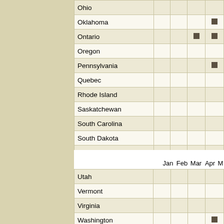| State/Province | Jan | Feb | Mar | Apr |
| --- | --- | --- | --- | --- |
| Ohio |  |  |  |  |
| Oklahoma |  |  |  | ■ |
| Ontario |  |  | ■ | ■ |
| Oregon |  |  |  |  |
| Pennsylvania |  |  |  | ■ |
| Quebec |  |  |  |  |
| Rhode Island |  |  |  |  |
| Saskatchewan |  |  |  |  |
| South Carolina |  |  |  |  |
| South Dakota |  |  |  |  |
| Tennessee |  |  |  |  |
| Texas |  |  |  |  |
| Utah |  |  |  |  |
| Vermont |  |  |  |  |
| Virginia |  |  |  |  |
| Washington |  |  |  | ■ |
| West Virginia |  |  |  |  |
| Wisconsin |  |  |  |  |